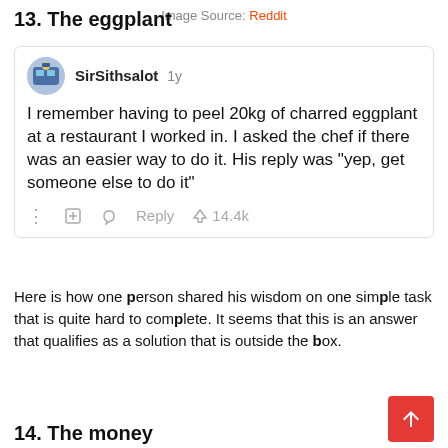13. The eggplant
[Figure (screenshot): Reddit comment screenshot: user SirSithsalot (1y ago) writes 'I remember having to peel 20kg of charred eggplant at a restaurant I worked in. I asked the chef if there was an easier way to do it. His reply was "yep, get someone else to do it"' with 14.4k upvotes and action icons]
Image Source: Reddit
Here is how one person shared his wisdom on one simple task that is quite hard to complete. It seems that this is an answer that qualifies as a solution that is outside the box.
14. The money